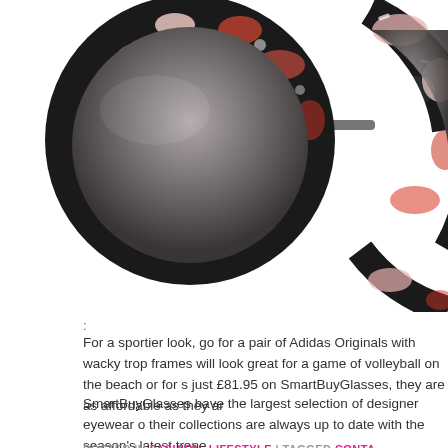[Figure (photo): Cropped photo of two large round sunglasses with patterned frames featuring tropical/floral print in black, pink, red and white colors. The lenses are dark grey gradient. Only the top and sides of the frames are visible, cropped at the bottom.]
:
For a sportier look, go for a pair of Adidas Originals with wacky tropical frames will look great for a game of volleyball on the beach or for s just £81.95 on SmartBuyGlasses, they are as affordable as they ar
SmartBuyGlasses have the largest selection of designer eyewear o their collections are always up to date with the season's latest trende
POSTED IN FASHION, LIFESTYLE | TAGGED CONTA FLOWERS, GLASSES, ONLINE, PRESCRIPTION LEN SMARTBUYGLASSES, SPRINGTIME, SUNGLASSES |